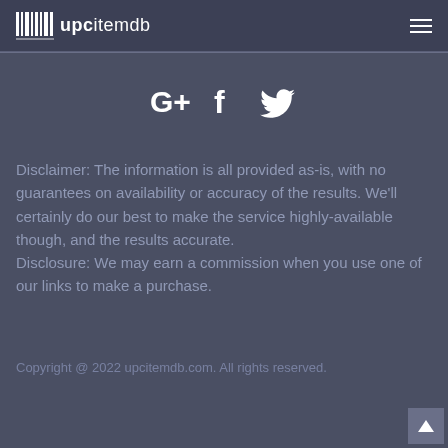upcitemdb
[Figure (illustration): Social media icons: Google+, Facebook, Twitter]
Disclaimer: The information is all provided as-is, with no guarantees on availability or accuracy of the results. We'll certainly do our best to make the service highly-available though, and the results accurate.
Disclosure: We may earn a commission when you use one of our links to make a purchase.
Copyright @ 2022 upcitemdb.com. All rights reserved.